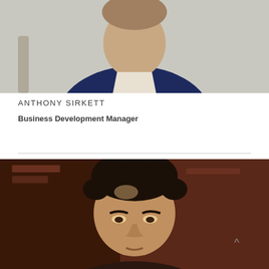[Figure (photo): Headshot of Anthony Sirkett, a man in a navy blue blazer with a white shirt, photographed from chest up against a light background.]
ANTHONY SIRKETT
Business Development Manager
[Figure (photo): Headshot of a man with dark curly hair and olive complexion, photographed from mid-chest up against a warm dark background.]